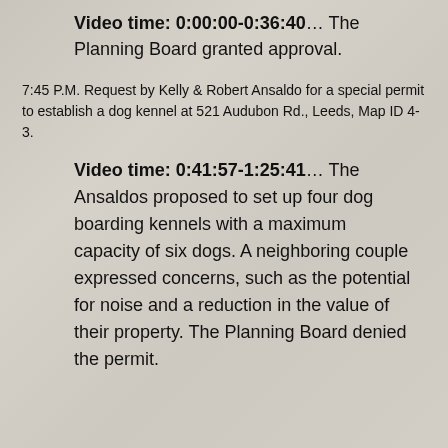Video time: 0:00:00-0:36:40… The Planning Board granted approval.
7:45 P.M. Request by Kelly & Robert Ansaldo for a special permit to establish a dog kennel at 521 Audubon Rd., Leeds, Map ID 4-3.
Video time: 0:41:57-1:25:41… The Ansaldos proposed to set up four dog boarding kennels with a maximum capacity of six dogs. A neighboring couple expressed concerns, such as the potential for noise and a reduction in the value of their property. The Planning Board denied the permit.